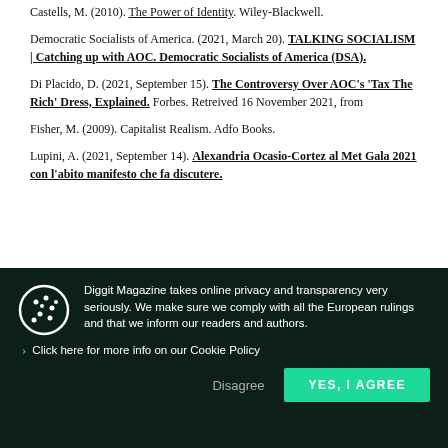Castells, M. (2010). The Power of Identity. Wiley-Blackwell.
Democratic Socialists of America. (2021, March 20). TALKING SOCIALISM | Catching up with AOC. Democratic Socialists of America (DSA).
Di Placido, D. (2021, September 15). The Controversy Over AOC’s ‘Tax The Rich’ Dress, Explained. Forbes. Retreived 16 November 2021, from
Fisher, M. (2009). Capitalist Realism. Adfo Books.
Lupini, A. (2021, September 14). Alexandria Ocasio-Cortez al Met Gala 2021 con l’abito manifesto che fa discutere.
Diggit Magazine takes online privacy and transparency very seriously. We make sure we comply with all the European rulings and that we inform our readers and authors.
Click here for more info on our Cookie Policy